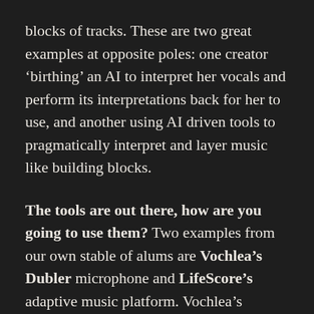blocks of tracks. These are two great examples at opposite poles: one creator 'birthing' an AI to interpret her vocals and perform its interpretations back for her to use, and another using AI driven tools to pragmatically interpret and layer music like building blocks.
The tools are out there, how are you going to use them? Two examples from our own stable of alums are Vochlea's Dubler microphone and LifeScore's adaptive music platform. Vochlea's intelligent microphone can recognise what you are vocalising in realtime and output it in the correct sound, with the nuances of the